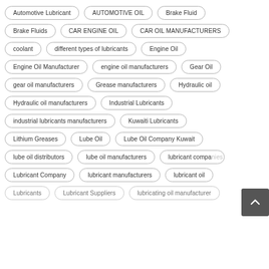Automotive Lubricant
AUTOMOTIVE OIL
Brake Fluid
Brake Fluids
CAR ENGINE OIL
CAR OIL MANUFACTURERS
coolant
different types of lubricants
Engine Oil
Engine Oil Manufacturer
engine oil manufacturers
Gear Oil
gear oil manufacturers
Grease manufacturers
Hydraulic oil
Hydraulic oil manufacturers
Industrial Lubricants
industrial lubricants manufacturers
Kuwaiti Lubricants
Lithium Greases
Lube Oil
Lube Oil Company Kuwait
lube oil distributors
lube oil manufacturers
lubricant companies
Lubricant Company
lubricant manufacturers
lubricant oil
Lubricants
Lubricant Suppliers
lubricating oil manufacturer